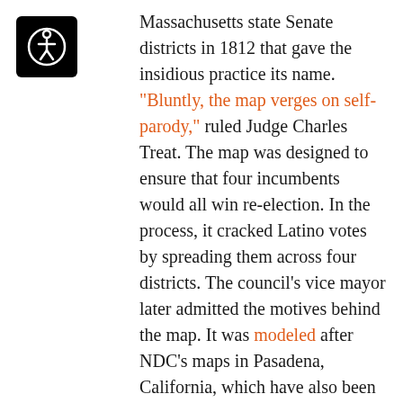[Figure (logo): Accessibility icon: white wheelchair/person symbol on black rounded square background]
Massachusetts state Senate districts in 1812 that gave the insidious practice its name. "Bluntly, the map verges on self-parody," ruled Judge Charles Treat. The map was designed to ensure that four incumbents would all win re-election. In the process, it cracked Latino votes by spreading them across four districts. The council's vice mayor later admitted the motives behind the map. It was modeled after NDC's maps in Pasadena, California, which have also been accused of protecting incumbents.
But Johnson has had perhaps his most embarrassing moments in court. When recidivist Republican gerrymanderers in North Carolina Republicans needed a consultant willing to testify on behalf of their latest set of maps, which had been ruled as discriminatory